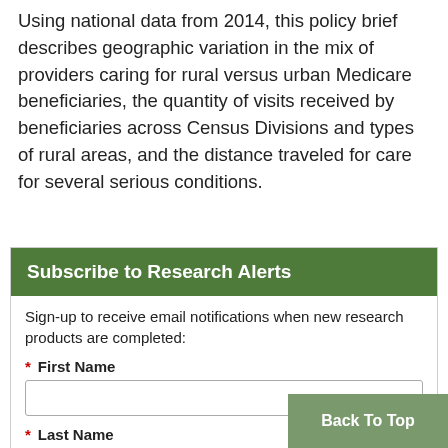Using national data from 2014, this policy brief describes geographic variation in the mix of providers caring for rural versus urban Medicare beneficiaries, the quantity of visits received by beneficiaries across Census Divisions and types of rural areas, and the distance traveled for care for several serious conditions.
Subscribe to Research Alerts
Sign-up to receive email notifications when new research products are completed:
* First Name
* Last Name
Back To Top